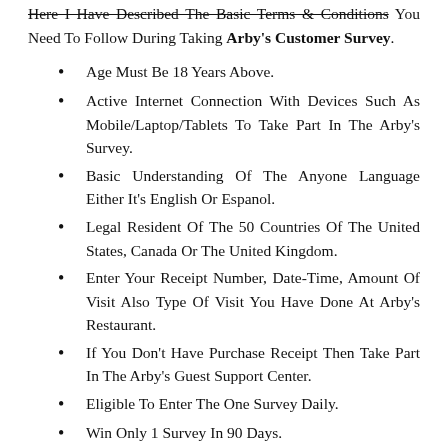Here I Have Described The Basic Terms & Conditions You Need To Follow During Taking Arby's Customer Survey.
Age Must Be 18 Years Above.
Active Internet Connection With Devices Such As Mobile/Laptop/Tablets To Take Part In The Arby's Survey.
Basic Understanding Of The Anyone Language Either It's English Or Espanol.
Legal Resident Of The 50 Countries Of The United States, Canada Or The United Kingdom.
Enter Your Receipt Number, Date-Time, Amount Of Visit Also Type Of Visit You Have Done At Arby's Restaurant.
If You Don't Have Purchase Receipt Then Take Part In The Arby's Guest Support Center.
Eligible To Enter The One Survey Daily.
Win Only 1 Survey In 90 Days.
Arby's Staff Members, Related Peoples Are Not